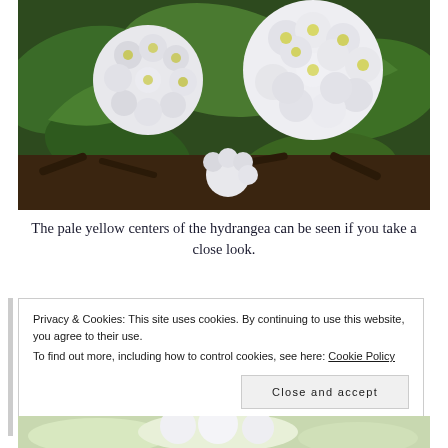[Figure (photo): Close-up photograph of white hydrangea flowers with pale yellow centers surrounded by large green leaves, with dark mulch visible at the base.]
The pale yellow centers of the hydrangea can be seen if you take a close look.
Privacy & Cookies: This site uses cookies. By continuing to use this website, you agree to their use.
To find out more, including how to control cookies, see here: Cookie Policy
Close and accept
[Figure (photo): Partial view of white flowers at the bottom of the page.]